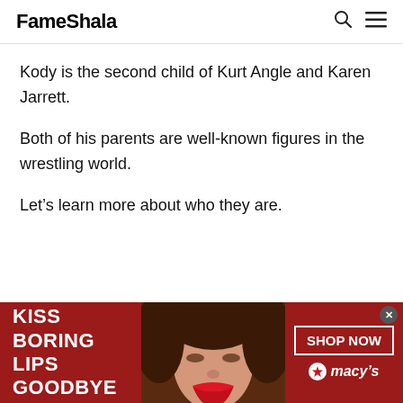FameShala
Kody is the second child of Kurt Angle and Karen Jarrett.
Both of his parents are well-known figures in the wrestling world.
Let’s learn more about who they are.
[Figure (photo): Advertisement banner for Macy's: red background with woman's face, text 'KISS BORING LIPS GOODBYE', 'SHOP NOW' button, and Macy's logo with star.]